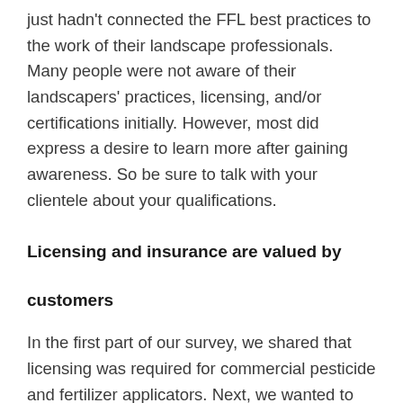just hadn't connected the FFL best practices to the work of their landscape professionals. Many people were not aware of their landscapers' practices, licensing, and/or certifications initially. However, most did express a desire to learn more after gaining awareness. So be sure to talk with your clientele about your qualifications.
Licensing and insurance are valued by customers
In the first part of our survey, we shared that licensing was required for commercial pesticide and fertilizer applicators. Next, we wanted to see whether respondents would view hiring licensed professionals as important. We